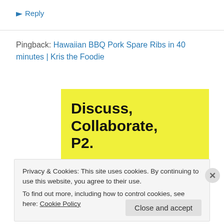↳ Reply
Pingback: Hawaiian BBQ Pork Spare Ribs in 40 minutes | Kris the Foodie
[Figure (illustration): Yellow box with bold black text reading 'Discuss, Collaborate, P2.']
Privacy & Cookies: This site uses cookies. By continuing to use this website, you agree to their use.
To find out more, including how to control cookies, see here: Cookie Policy
Close and accept